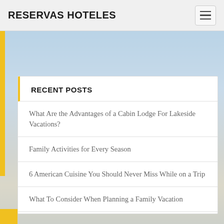RESERVAS HOTELES
RECENT POSTS
What Are the Advantages of a Cabin Lodge For Lakeside Vacations?
Family Activities for Every Season
6 American Cuisine You Should Never Miss While on a Trip
What To Consider When Planning a Family Vacation
Mammoth Cabin Or Apartment?